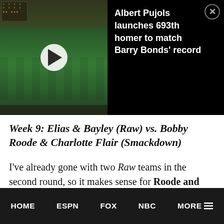[Figure (screenshot): Video thumbnail showing a baseball game at Wrigley Field with a play button overlay, alongside a black panel with the headline 'Albert Pujols launches 693th homer to match Barry Bonds' record' and a close (X) button in the top right corner.]
Week 9: Elias & Bayley (Raw) vs. Bobby Roode & Charlotte Flair (Smackdown)
I've already gone with two Raw teams in the second round, so it makes sense for Roode and Charlotte to get the win here.
HOME   ESPN   FOX   NBC   MORE